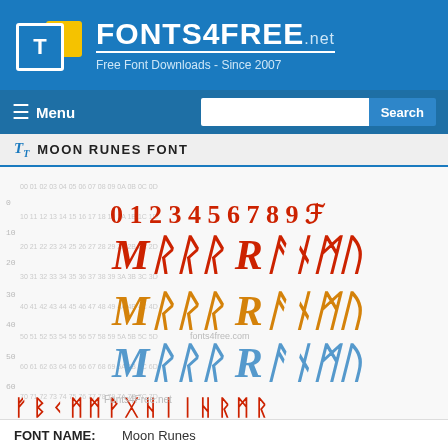[Figure (logo): Fonts4Free.net logo with yellow folder icon and blue header background. Text: FONTS4FREE .net, Free Font Downloads - Since 2007]
Menu  Search
TT MOON RUNES FONT
[Figure (screenshot): Font preview showing Moon Runes font characters in multiple colors (red, orange, blue) including numbers 0-9 and runic alphabet characters with character map overlay]
FONT NAME:  Moon Runes